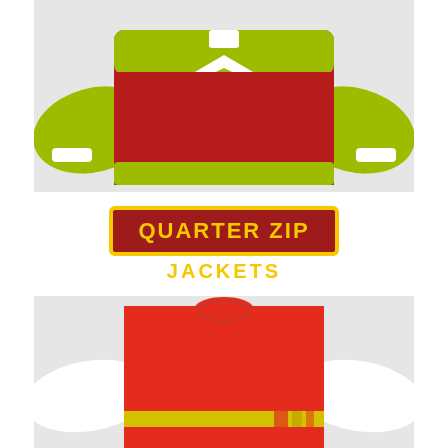[Figure (photo): Top half of a quarter-zip sweatshirt jacket with red body, lime green/yellow-green sleeves, and white accents with a chevron design at the chest area, shown on a light gray background]
QUARTER ZIP JACKETS
[Figure (photo): Upper torso of a red sports jersey/sweatshirt with white sleeves, yellow horizontal stripe accent near the bottom hem, on a light gray background]